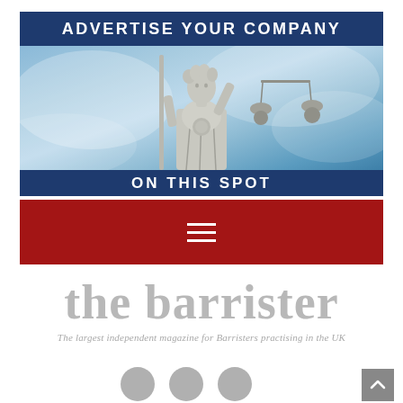[Figure (illustration): Advertisement banner for 'The Barrister' magazine showing Lady Justice statue holding scales, with dark blue top bar reading 'ADVERTISE YOUR COMPANY' and bottom bar reading 'ON THIS SPOT']
[Figure (other): Red menu/navigation bar with hamburger menu icon (three horizontal lines)]
the barrister
The largest independent magazine for Barristers practising in the UK
[Figure (other): Social media icons (LinkedIn, Facebook, Twitter) partially visible at bottom of page, plus scroll-to-top button in bottom right corner]